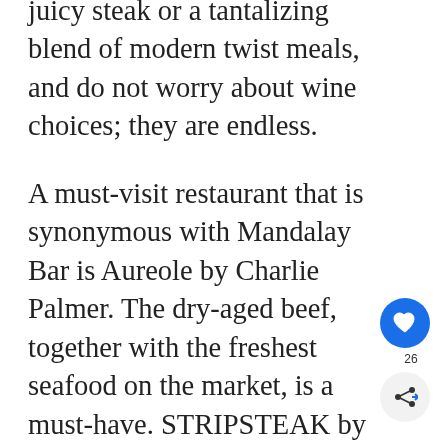juicy steak or a tantalizing blend of modern twist meals, and do not worry about wine choices; they are endless.
A must-visit restaurant that is synonymous with Mandalay Bar is Aureole by Charlie Palmer. The dry-aged beef, together with the freshest seafood on the market, is a must-have. STRIPSTEAK by Michael Mina at the Bay is another excellent eatery known by the Las Vegas Review-Journal as one of the Best Steakhouses in Las Vegas.
[Figure (infographic): Floating UI widgets: blue heart/like button with count 26, share button, and a 'WHAT'S NEXT' card showing '14 Best Restaurants ...' with a thumbnail photo]